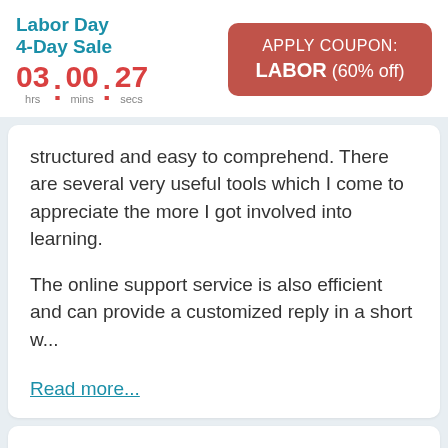Labor Day 4-Day Sale | 03 : 00 : 27 hrs mins secs | APPLY COUPON: LABOR (60% off)
structured and easy to comprehend. There are several very useful tools which I come to appreciate the more I got involved into learning.

The online support service is also efficient and can provide a customized reply in a short w...
Read more...